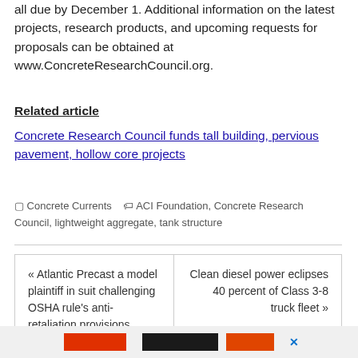all due by December 1. Additional information on the latest projects, research products, and upcoming requests for proposals can be obtained at www.ConcreteResearchCouncil.org.
Related article
Concrete Research Council funds tall building, pervious pavement, hollow core projects
Concrete Currents   ACI Foundation, Concrete Research Council, lightweight aggregate, tank structure
« Atlantic Precast a model plaintiff in suit challenging OSHA rule's anti-retaliation provisions
Clean diesel power eclipses 40 percent of Class 3-8 truck fleet »
[Figure (other): Footer banner with colored blocks and social media icon]